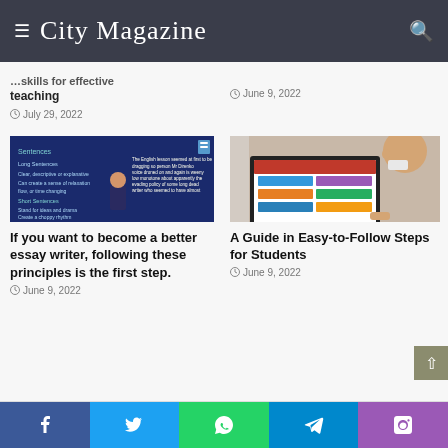City Magazine
Skills for effective teaching
July 29, 2022
June 9, 2022
[Figure (photo): Teacher at a blackboard with writing about sentences]
[Figure (photo): Student using a laptop showing colorful interface]
If you want to become a better essay writer, following these principles is the first step.
June 9, 2022
A Guide in Easy-to-Follow Steps for Students
June 9, 2022